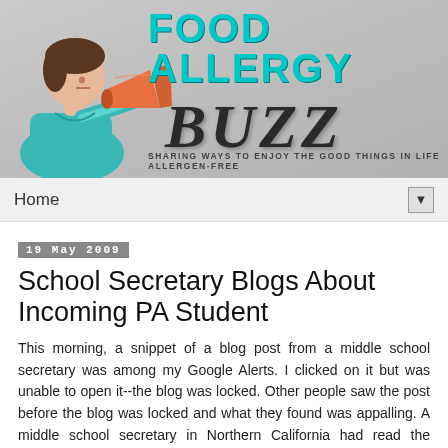[Figure (illustration): Food Allergy Buzz blog header banner with illustrated woman speaking into a megaphone, teal 'FOOD ALLERGY' text, dark italic 'BUZZ' text, and tagline 'SHARING WAYS TO ENJOY THE GOOD THINGS IN LIFE ALLERGEN-FREE']
Home
19 May 2009
School Secretary Blogs About Incoming PA Student
This morning, a snippet of a blog post from a middle school secretary was among my Google Alerts. I clicked on it but was unable to open it--the blog was locked. Other people saw the post before the blog was locked and what they found was appalling. A middle school secretary in Northern California had read the medical and other records for an